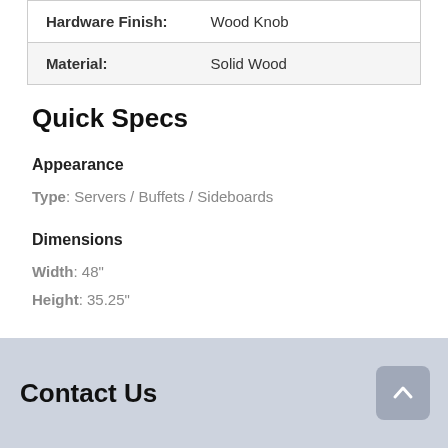| Hardware Finish: | Wood Knob |
| Material: | Solid Wood |
Quick Specs
Appearance
Type: Servers / Buffets / Sideboards
Dimensions
Width: 48"
Height: 35.25"
Contact Us